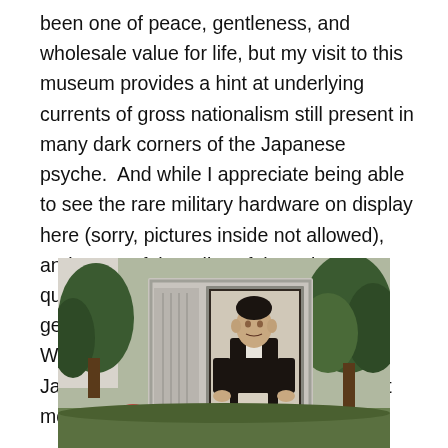been one of peace, gentleness, and wholesale value for life, but my visit to this museum provides a hint at underlying currents of gross nationalism still present in many dark corners of the Japanese psyche.  And while I appreciate being able to see the rare military hardware on display here (sorry, pictures inside not allowed), and many of the relics of those lost are quite moving and well displayed, it is the general feel of this place that lives me, a Westerner, questioning what many Japanese really know about the War, but more importantly, how they feel.
[Figure (photo): Outdoor photo of a stone memorial/monument with a framed black-and-white portrait of a man in formal dress embedded in it, surrounded by trees and greenery, with flowers visible at the base.]